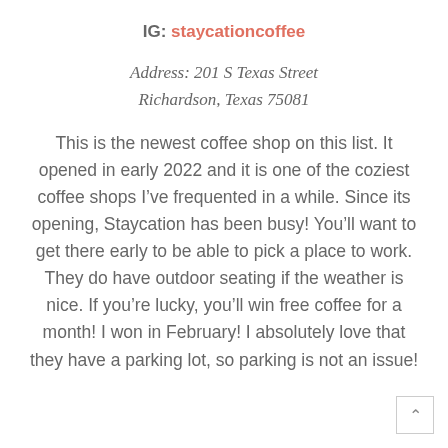IG: staycationcoffee
Address: 201 S Texas Street
Richardson, Texas 75081
This is the newest coffee shop on this list. It opened in early 2022 and it is one of the coziest coffee shops I’ve frequented in a while. Since its opening, Staycation has been busy! You’ll want to get there early to be able to pick a place to work. They do have outdoor seating if the weather is nice. If you’re lucky, you’ll win free coffee for a month! I won in February! I absolutely love that they have a parking lot, so parking is not an issue!